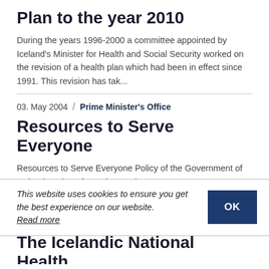Plan to the year 2010
During the years 1996-2000 a committee appointed by Iceland's Minister for Health and Social Security worked on the revision of a health plan which had been in effect since 1991. This revision has tak...
03. May 2004  /  Prime Minister's Office
Resources to Serve Everyone
Resources to Serve Everyone Policy of the Government of Iceland on the Information Society 2004 - 2007 Resources to Serve Everyone Policy of the Government of Iceland on the...
This website uses cookies to ensure you get the best experience on our website. Read more
The Icelandic National Health...